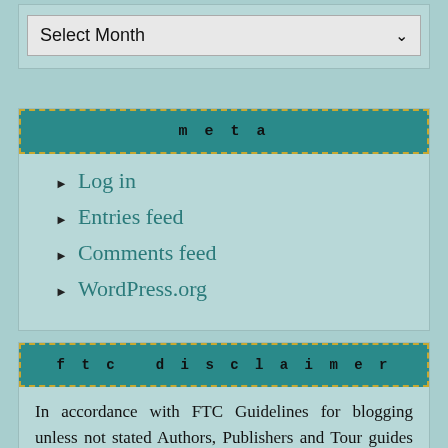[Figure (screenshot): Select Month dropdown control]
meta
Log in
Entries feed
Comments feed
WordPress.org
ftc disclaimer
In accordance with FTC Guidelines for blogging unless not stated Authors, Publishers and Tour guides may provide us ARC, Galley, or finished copy in exchange for an unbiased review. All reviews will state the source for